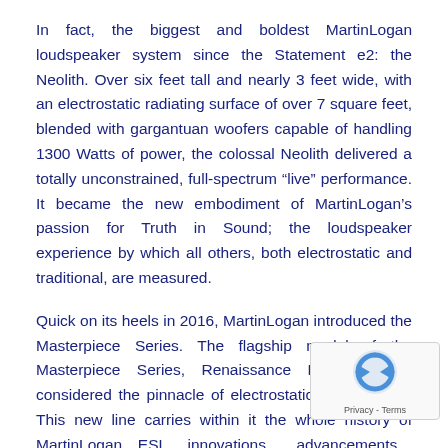In fact, the biggest and boldest MartinLogan loudspeaker system since the Statement e2: the Neolith. Over six feet tall and nearly 3 feet wide, with an electrostatic radiating surface of over 7 square feet, blended with gargantuan woofers capable of handling 1300 Watts of power, the colossal Neolith delivered a totally unconstrained, full-spectrum “live” performance. It became the new embodiment of MartinLogan’s passion for Truth in Sound; the loudspeaker experience by which all others, both electrostatic and traditional, are measured.
Quick on its heels in 2016, MartinLogan introduced the Masterpiece Series. The flagship model of the Masterpiece Series, Renaissance ESL 15A, is considered the pinnacle of electrostatic achievement. This new line carries within it the whole history of MartinLogan ESL innovations, advancements and breakthroughs, from massive integrated woofers and t perfectly blended electrostatic transducers, to han crossovers and Anthem Room Correction (ARC™) techno world’s best instant performance optimizer.